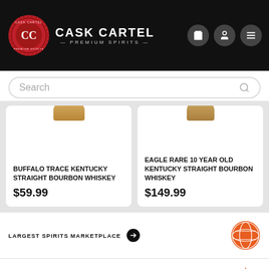[Figure (logo): Cask Cartel Premium Spirits logo with red wax seal and white text on black header, with cart, user, and menu icons]
Search
BUFFALO TRACE KENTUCKY STRAIGHT BOURBON WHISKEY $59.99
EAGLE RARE 10 YEAR OLD KENTUCKY STRAIGHT BOURBON WHISKEY $149.99
LARGEST SPIRITS MARKETPLACE
GOOGLE 4.5 STAR VERIFIED REVIEWS